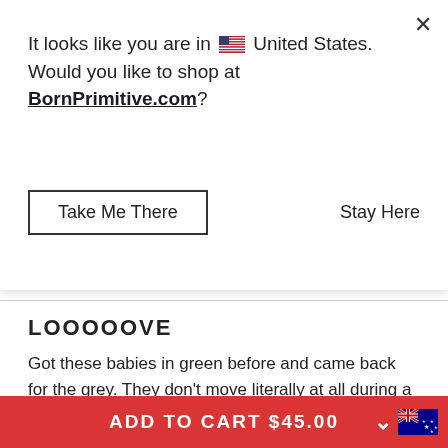It looks like you are in 🇺🇸 United States. Would you like to shop at BornPrimitive.com?
Take Me There
Stay Here
LOOOOOVE
Got these babies in green before and came back for the grey. They don't move literally at all during a workout and are very flattering. The butt scrunch isn't obvious, but is flattering
Quality — Poor to Excellent (bar near Excellent)
Comfort — bar near Excellent
ADD TO CART $45.00